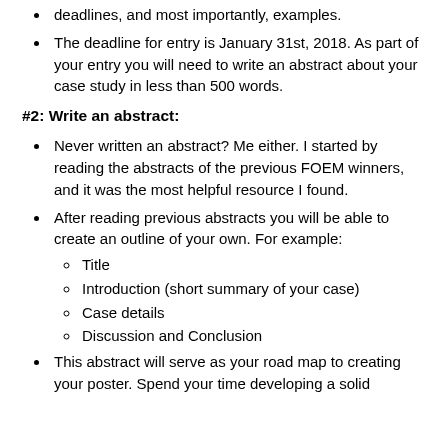deadlines, and most importantly, examples.
The deadline for entry is January 31st, 2018. As part of your entry you will need to write an abstract about your case study in less than 500 words.
#2: Write an abstract:
Never written an abstract? Me either. I started by reading the abstracts of the previous FOEM winners, and it was the most helpful resource I found.
After reading previous abstracts you will be able to create an outline of your own. For example:
Title
Introduction (short summary of your case)
Case details
Discussion and Conclusion
This abstract will serve as your road map to creating your poster. Spend your time developing a solid